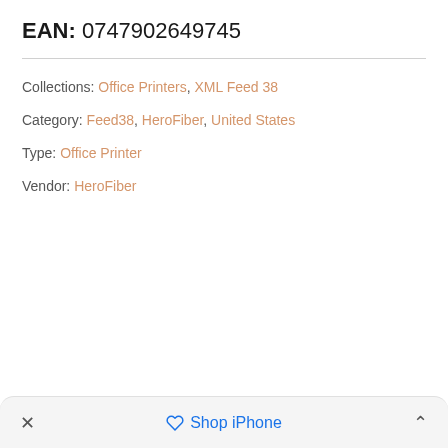EAN: 0747902649745
Collections: Office Printers, XML Feed 38
Category: Feed38, HeroFiber, United States
Type: Office Printer
Vendor: HeroFiber
× Shop iPhone ^